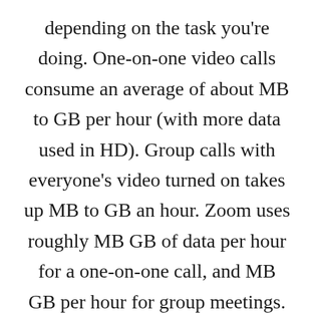depending on the task you're doing. One-on-one video calls consume an average of about MB to GB per hour (with more data used in HD). Group calls with everyone's video turned on takes up MB to GB an hour. Zoom uses roughly MB GB of data per hour for a one-on-one call, and MB GB per hour for group meetings. Mobile users will likely consume slightly less data due to Zoom optimizing its bandwidth based on your connection.